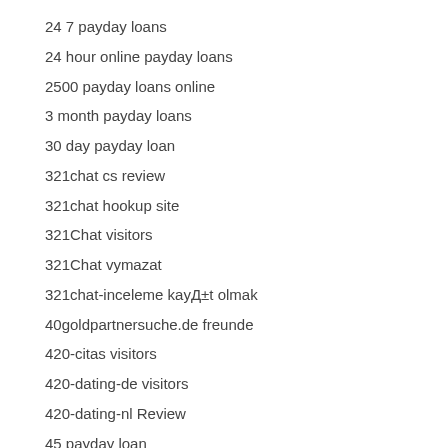24 7 payday loans
24 hour online payday loans
2500 payday loans online
3 month payday loans
30 day payday loan
321chat cs review
321chat hookup site
321Chat visitors
321Chat vymazat
321chat-inceleme kayД±t olmak
40goldpartnersuche.de freunde
420-citas visitors
420-dating-de visitors
420-dating-nl Review
45 payday loan